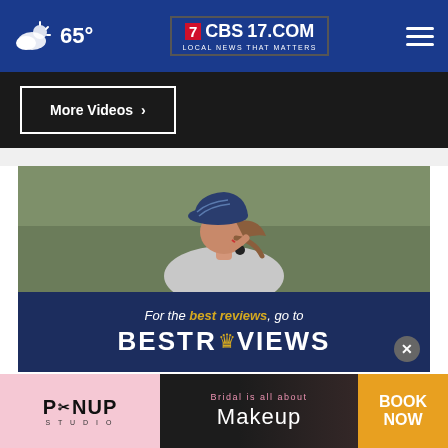65° | CBS17.COM LOCAL NEWS THAT MATTERS
More Videos ▶
[Figure (photo): Young woman wearing a baseball cap, adjusting earbuds while outdoors]
[Figure (infographic): BestReviews ad overlay: 'For the best reviews, go to BESTREVIEWS' on dark navy background with close button]
[Figure (infographic): Pinup Studio bridal advertisement: 'Bridal is all about Makeup' with BOOK NOW button]